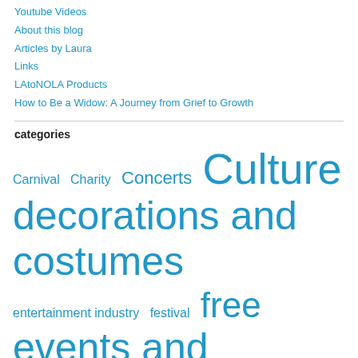Youtube Videos
About this blog
Articles by Laura
Links
LAtoNOLA Products
How to Be a Widow: A Journey from Grief to Growth
categories
Carnival  Charity  Concerts  Culture  decorations and costumes  entertainment industry  festival  free  events and lagniappe  history